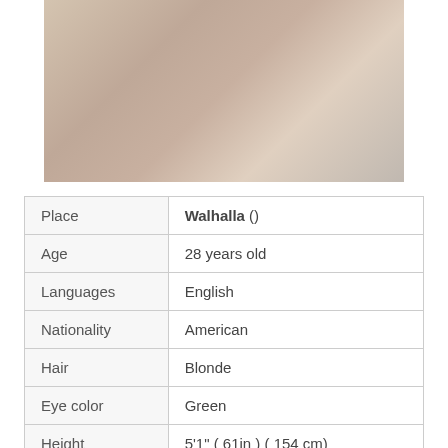[Figure (photo): A person lying on a bed with knitted/textured bedding, wearing red accessories, photo has a watermark overlay]
| Place | Walhalla () |
| Age | 28 years old |
| Languages | English |
| Nationality | American |
| Hair | Blonde |
| Eye color | Green |
| Height | 5'1" ( 61in ) ( 154 cm) |
| Weight | 112 lbs (51 kg) |